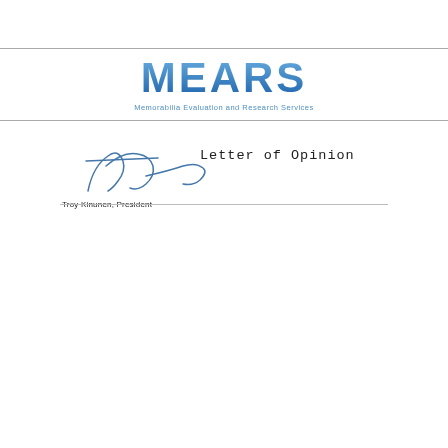[Figure (logo): MEARS logo with blue gradient letters and subtitle 'Memorabilia Evaluation and Research Services', followed by 'Letter of Opinion' in monospace font, with a signature of Troy Kinunen, President below]
Troy Kinunen, President